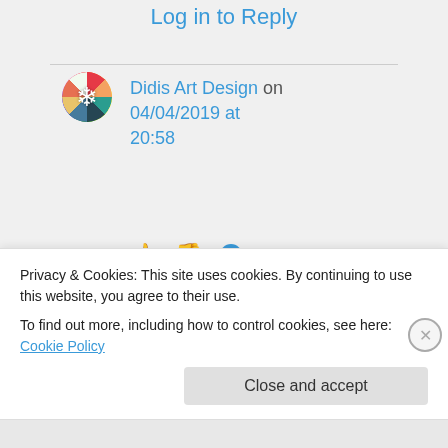Log in to Reply
Didis Art Design on 04/04/2019 at 20:58
👍 0 👎 0 ℹ Rate This
Welcome,
dear Ilona 🙂
Privacy & Cookies: This site uses cookies. By continuing to use this website, you agree to their use.
To find out more, including how to control cookies, see here: Cookie Policy
Close and accept